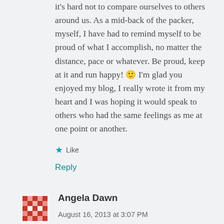it's hard not to compare ourselves to others around us. As a mid-back of the packer, myself, I have had to remind myself to be proud of what I accomplish, no matter the distance, pace or whatever. Be proud, keep at it and run happy! 🙂 I'm glad you enjoyed my blog, I really wrote it from my heart and I was hoping it would speak to others who had the same feelings as me at one point or another.
Like
Reply
Angela Dawn  August 16, 2013 at 3:07 PM
Nice post! Do you have a review coming for the